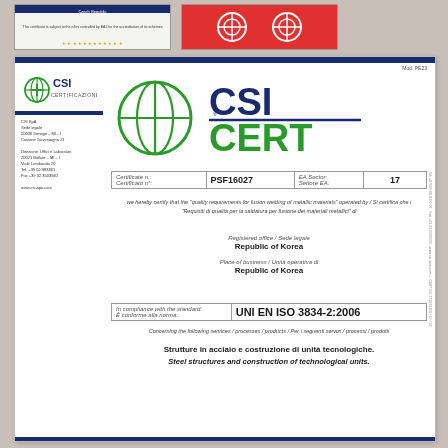[Figure (illustration): Thumbnail of a European certificate with dark blue header and gold stars]
[Figure (illustration): Thumbnail with red background showing circular logos]
[Figure (logo): CSI CERT logo — green globe symbol and blue CSI text with green CERT text]
Mod. PE23
CSI SpA
Sede legale
20030 Senago – MI – I
Casione Traversagna 21

Direzione, Uffici e Laboratori
20021 Bollate – MI – I
Viale Lombardia 20
Tel. +39 02 383301
Fax +39 02 3503940
www.csi-spa.com
| Certificate n.: / Certificato n°: | PSF16027 | EA Sector: / Settore EA: | 17 |
| --- | --- | --- | --- |
we hereby certify that the "quality requirements for fusion welding of metallic materials" operated by / Si certifica che i "Requisiti di qualità per la saldatura per fusione dei materiali metallici" di
Registered office / Sede legale
Republic of Korea
Place of business / Unità operativa di
Republic of Korea
| In compliance with the standard: / È conforme alla norma: | UNI EN ISO 3834-2:2006 |
| --- | --- |
Concerning the following services / processes / products / Per i seguenti servizi / processi / prodotti
Strutture in acciaio e costruzione di unità tecnologiche.
Steel structures and construction of technological units.